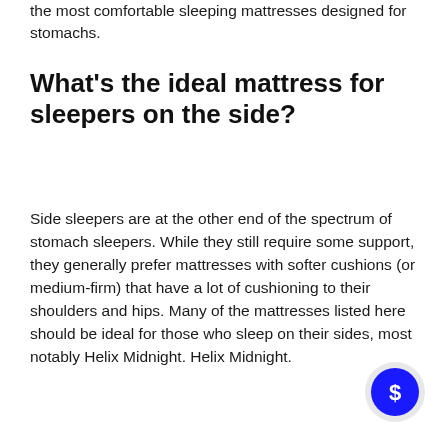the most comfortable sleeping mattresses designed for stomachs.
What's the ideal mattress for sleepers on the side?
Side sleepers are at the other end of the spectrum of stomach sleepers. While they still require some support, they generally prefer mattresses with softer cushions (or medium-firm) that have a lot of cushioning to their shoulders and hips. Many of the mattresses listed here should be ideal for those who sleep on their sides, most notably Helix Midnight. Helix Midnight.
[Figure (illustration): Blue circular chat bubble icon with a dollar sign inside, positioned in the bottom-right corner of the page.]